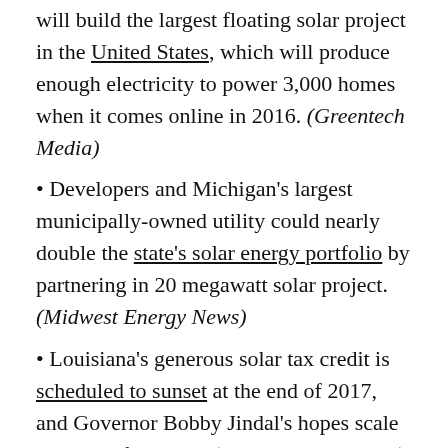will build the largest floating solar project in the United States, which will produce enough electricity to power 3,000 homes when it comes online in 2016. (Greentech Media)
• Developers and Michigan's largest municipally-owned utility could nearly double the state's solar energy portfolio by partnering in 20 megawatt solar project. (Midwest Energy News)
• Louisiana's generous solar tax credit is scheduled to sunset at the end of 2017, and Governor Bobby Jindal's hopes scale it back beforehand. (The Times-Picayune)
WIND: Residents of Colorado's El Paso County say they intend to file for an injunction to halt the construction of a controversial wind farm until